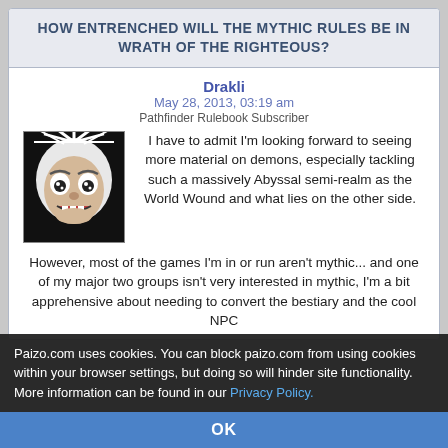HOW ENTRENCHED WILL THE MYTHIC RULES BE IN WRATH OF THE RIGHTEOUS?
Drakli
May 28, 2013, 03:19 am
Pathfinder Rulebook Subscriber
[Figure (illustration): Avatar image of a fierce demon/monster face with spiky white hair and wild eyes, in comic book style, black and white with some color]
I have to admit I'm looking forward to seeing more material on demons, especially tackling such a massively Abyssal semi-realm as the World Wound and what lies on the other side.
However, most of the games I'm in or run aren't mythic... and one of my major two groups isn't very interested in mythic, I'm a bit apprehensive about needing to convert the bestiary and the cool NPC
Paizo.com uses cookies. You can block paizo.com from using cookies within your browser settings, but doing so will hinder site functionality. More information can be found in our Privacy Policy.
OK